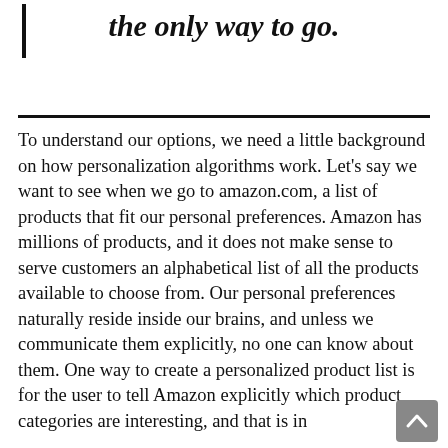the only way to go.
To understand our options, we need a little background on how personalization algorithms work. Let's say we want to see when we go to amazon.com, a list of products that fit our personal preferences. Amazon has millions of products, and it does not make sense to serve customers an alphabetical list of all the products available to choose from. Our personal preferences naturally reside inside our brains, and unless we communicate them explicitly, no one can know about them. One way to create a personalized product list is for the user to tell Amazon explicitly which product categories are interesting, and that is in